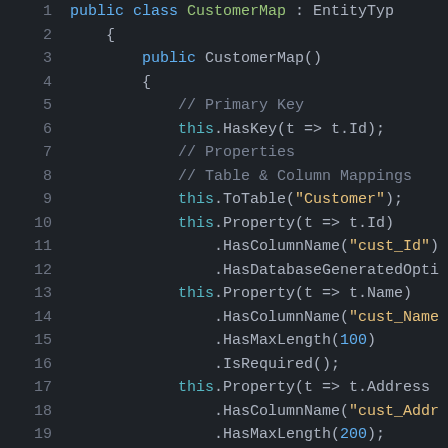[Figure (screenshot): Code editor screenshot showing C# Entity Framework CustomerMap class with syntax highlighting. Lines 1-19 visible. Dark background (#1e2227). Line numbers in gray on left. Keywords 'public', 'class' in blue/cyan, class name 'CustomerMap' in green, 'this' in cyan, string literals in yellow, numeric literals in blue, comments in gray.]